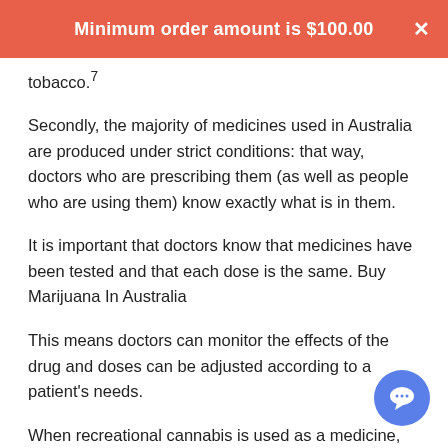Minimum order amount is $100.00
tobacco.7
Secondly, the majority of medicines used in Australia are produced under strict conditions: that way, doctors who are prescribing them (as well as people who are using them) know exactly what is in them.
It is important that doctors know that medicines have been tested and that each dose is the same. Buy Marijuana In Australia
This means doctors can monitor the effects of the drug and doses can be adjusted according to a patient's needs.
When recreational cannabis is used as a medicine, doctors and patients can't be sure of these things – they don't know how strong it is or what mix of chemicals is in it, and as a consequence one dose will never be the same as another.8